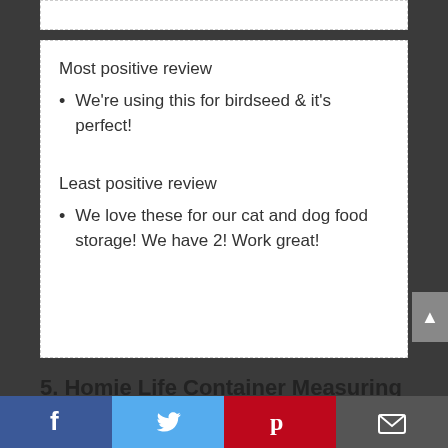Most positive review
We're using this for birdseed & it's perfect!
Least positive review
We love these for our cat and dog food storage! We have 2! Work great!
5. Homie Life Container Measuring Dispenser
f  t  p  ✉